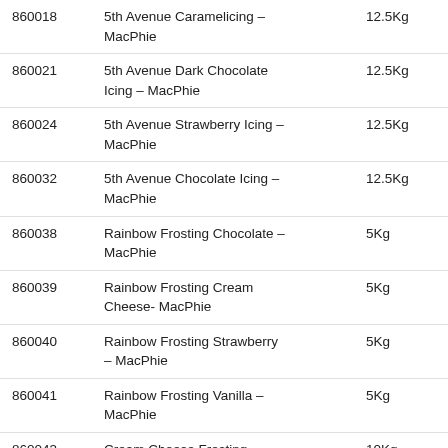| Code | Name | Size |
| --- | --- | --- |
| 860018 | 5th Avenue Caramelicing – MacPhie | 12.5Kg |
| 860021 | 5th Avenue Dark Chocolate Icing – MacPhie | 12.5Kg |
| 860024 | 5th Avenue Strawberry Icing – MacPhie | 12.5Kg |
| 860032 | 5th Avenue Chocolate Icing – MacPhie | 12.5Kg |
| 860038 | Rainbow Frosting Chocolate – MacPhie | 5Kg |
| 860039 | Rainbow Frosting Cream Cheese- MacPhie | 5Kg |
| 860040 | Rainbow Frosting Strawberry – MacPhie | 5Kg |
| 860041 | Rainbow Frosting Vanilla – MacPhie | 5Kg |
| 860043 | Cream Cheese Frosting – MacPhie | 10Kg |